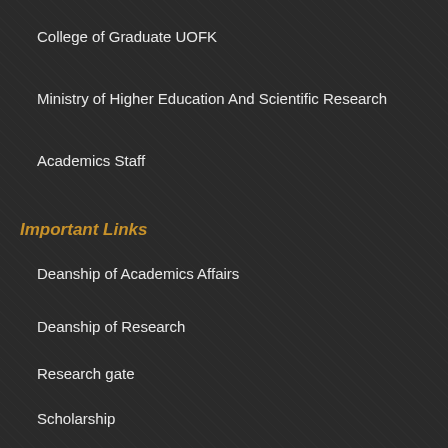College of Graduate UOFK
Ministry of Higher Education And Scientific Research
Academics Staff
Important Links
Deanship of Academics Affairs
Deanship of Research
Research gate
Scholarship